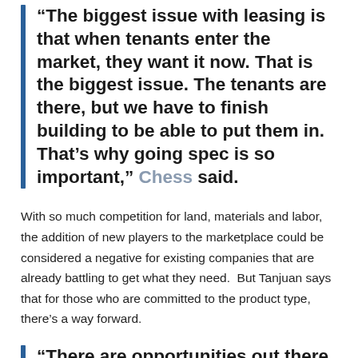“The biggest issue with leasing is that when tenants enter the market, they want it now. That is the biggest issue. The tenants are there, but we have to finish building to be able to put them in. That’s why going spec is so important,” Chess said.
With so much competition for land, materials and labor, the addition of new players to the marketplace could be considered a negative for existing companies that are already battling to get what they need.  But Tanjuan says that for those who are committed to the product type, there’s a way forward.
“There are opportunities out there for everybody,” Tanjuan said. “It’s competitive, and finding space is extremely difficult, but the…